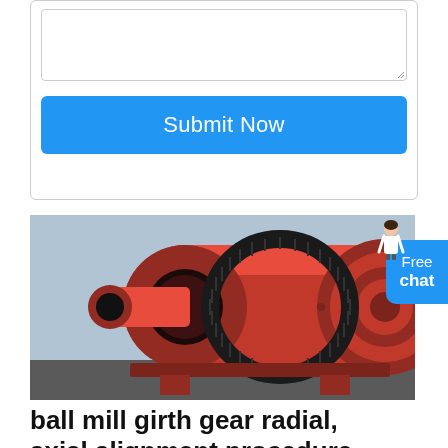[Figure (screenshot): A form with a textarea and a blue 'Submit Now' button]
[Figure (photo): A large orange ball mill machine with girth gear, cylindrical drum, and flanged end caps, photographed outdoors]
ball mill girth gear radial, axial alignment procedure